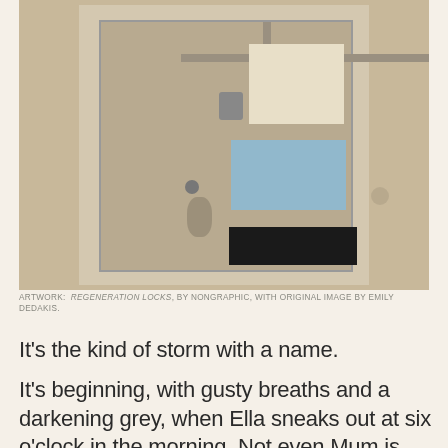[Figure (photo): Black and white photograph of a door with a padlock, overlaid with geometric color blocks: a cream/white rectangle at upper center, a light blue rectangle in the middle, and a black rectangle below center. Pipes visible at top. The door has scuff marks and a circular fixture on the left side.]
ARTWORK: REGENERATION LOCKS, BY NONGRAPHIC, WITH ORIGINAL IMAGE BY EMILY DEDAKIS.
It's the kind of storm with a name.
It's beginning, with gusty breaths and a darkening grey, when Ella sneaks out at six o'clock in the morning. Not even Mum is awake. Ducks in her rucksack. Locks the gate behind her. Not a soul in sight all the way to Sailortown. Passing the corner